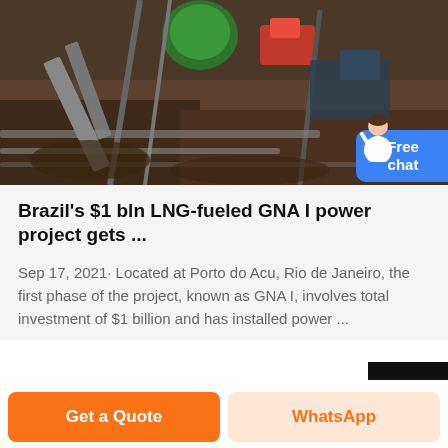[Figure (photo): Aerial/overhead view of a construction site showing heavy industrial equipment including a green crane and conveyor machinery on dark earth ground at Porto do Acu]
Brazil's $1 bln LNG-fueled GNA I power project gets ...
Sep 17, 2021· Located at Porto do Acu, Rio de Janeiro, the first phase of the project, known as GNA I, involves total investment of $1 billion and has installed power ...